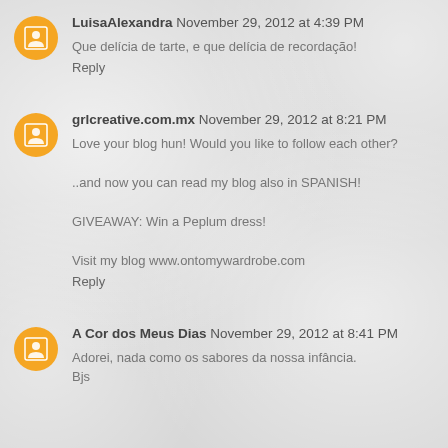LuisaAlexandra November 29, 2012 at 4:39 PM
Que delícia de tarte, e que delícia de recordação!
Reply
grlcreative.com.mx November 29, 2012 at 8:21 PM
Love your blog hun! Would you like to follow each other?
..and now you can read my blog also in SPANISH!
GIVEAWAY: Win a Peplum dress!
Visit my blog www.ontomywardrobe.com
Reply
A Cor dos Meus Dias November 29, 2012 at 8:41 PM
Adorei, nada como os sabores da nossa infância.
Bjs